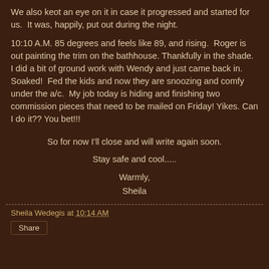We also keot an eye on it in case it progressed and started for us.  It was, happily, put out during the night.
10:10 A.M. 85 degrees and feels like 89, and rising.  Roger is out painting the trim on the bathhouse. Thankfully in the shade. I did a bit of ground work with Wendy and just came back in. Soaked!  Fed the kids and now they are snoozing and comfy under the a/c.  My job today is hiding and finishing two commission pieces that need to be mailed on Friday! Yikes. Can I do it?? You bet!!!
So for now I'll close and will write again soon.
Stay safe and cool.....
Warmly,
Sheila
Sheila Wedegis at 10:14 AM
Share